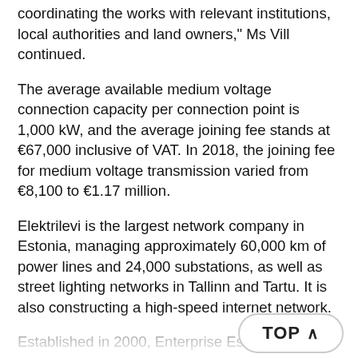coordinating the works with relevant institutions, local authorities and land owners," Ms Vill continued.
The average available medium voltage connection capacity per connection point is 1,000 kW, and the average joining fee stands at €67,000 inclusive of VAT. In 2018, the joining fee for medium voltage transmission varied from €8,100 to €1.17 million.
Elektrilevi is the largest network company in Estonia, managing approximately 60,000 km of power lines and 24,000 substations, as well as street lighting networks in Tallinn and Tartu. It is also constructing a high-speed internet network.
Established in 2000, Enterprise Estonia promotes business and regional policy in... one of the largest institutions within the system for entrepreneurship, through providing